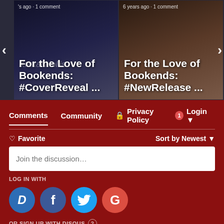[Figure (screenshot): Two book blog post cards side by side in a carousel. Left card shows: 's ago · 1 comment' and title 'For the Love of Bookends: #CoverReveal ...' with watermark text 'Kristal Hollis'. Right card shows: '6 years ago · 1 comment' and title 'For the Love of Bookends: #NewRelease ...' with a person's image in background. Navigation arrows on left and right sides.]
Comments
Community
Privacy Policy
1
Login
♡ Favorite
Sort by Newest
Join the discussion…
LOG IN WITH
OR SIGN UP WITH DISQUS ?
Name